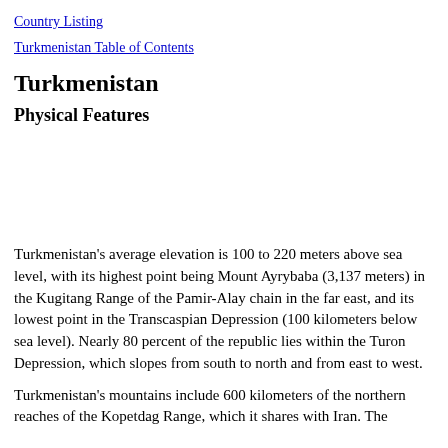Country Listing
Turkmenistan Table of Contents
Turkmenistan
Physical Features
Turkmenistan's average elevation is 100 to 220 meters above sea level, with its highest point being Mount Ayrybaba (3,137 meters) in the Kugitang Range of the Pamir-Alay chain in the far east, and its lowest point in the Transcaspian Depression (100 kilometers below sea level). Nearly 80 percent of the republic lies within the Turon Depression, which slopes from south to north and from east to west.
Turkmenistan's mountains include 600 kilometers of the northern reaches of the Kopetdag Range, which it shares with Iran. The